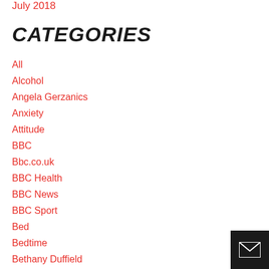July 2018
CATEGORIES
All
Alcohol
Angela Gerzanics
Anxiety
Attitude
BBC
Bbc.co.uk
BBC Health
BBC News
BBC Sport
Bed
Bedtime
Bethany Duffield
Betina Gozo
Body
[Figure (other): Email/envelope icon button in dark background, bottom right corner]